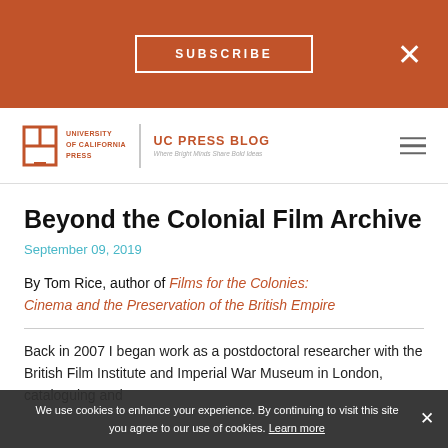SUBSCRIBE
UC PRESS BLOG — Where Bright Minds Share Bold Ideas
Beyond the Colonial Film Archive
September 09, 2019
By Tom Rice, author of Films for the Colonies: Cinema and the Preservation of the British Empire
Back in 2007 I began work as a postdoctoral researcher with the British Film Institute and Imperial War Museum in London, cataloguing and
We use cookies to enhance your experience. By continuing to visit this site you agree to our use of cookies. Learn more